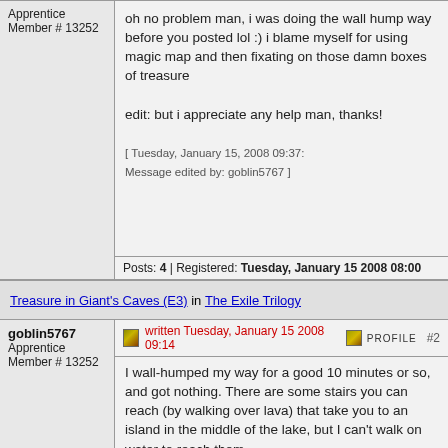Apprentice
Member # 13252
oh no problem man, i was doing the wall hump way before you posted lol :) i blame myself for using magic map and then fixating on those damn boxes of treasure

edit: but i appreciate any help man, thanks!

[ Tuesday, January 15, 2008 09:37: Message edited by: goblin5767 ]
Posts: 4 | Registered: Tuesday, January 15 2008 08:00
Treasure in Giant's Caves (E3) in The Exile Trilogy
goblin5767
Apprentice
Member # 13252
written Tuesday, January 15 2008 09:14  #2
I wall-humped my way for a good 10 minutes or so, and got nothing. There are some stairs you can reach (by walking over lava) that take you to an island in the middle of the lake, but I can't walk on water to reach them
Posts: 4 | Registered: Tuesday, January 15 2008 08:00